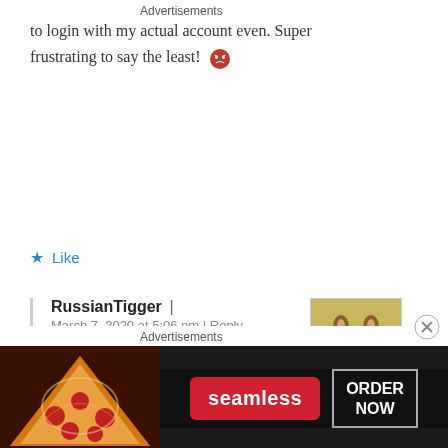to login with my actual account even. Super frustrating to say the least! 😠
★ Like
RussianTigger | March 7, 2020 at 5:06 pm | Reply
[Figure (photo): Small avatar photo of a squirrel]
I agree, the glitches and issues need to be addressed or the game won't have anyone left playing. I
Advertisements
[Figure (infographic): Seamless food delivery advertisement with pizza image, Seamless logo, and ORDER NOW button]